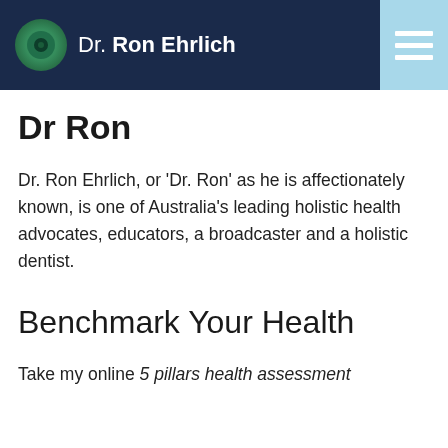Dr. Ron Ehrlich
Dr Ron
Dr. Ron Ehrlich, or 'Dr. Ron' as he is affectionately known, is one of Australia's leading holistic health advocates, educators, a broadcaster and a holistic dentist.
Benchmark Your Health
Take my online 5 pillars health assessment